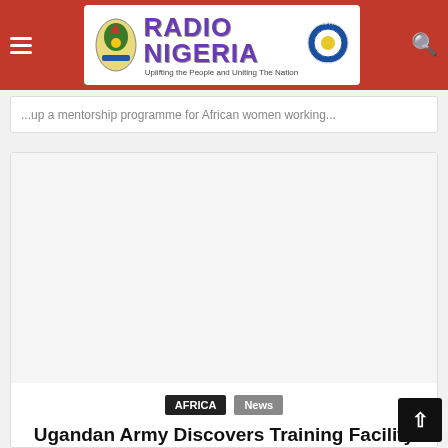Radio Nigeria — Uplifting the People and Uniting The Nation
...up a mentorship programme for African women working...
[Figure (photo): Article image placeholder — white/light grey rectangle representing a photo for the 'Ugandan Army Discovers Training Facility For ADF Rebels' article]
AFRICA  News
Ugandan Army Discovers Training Facility For ADF Rebels